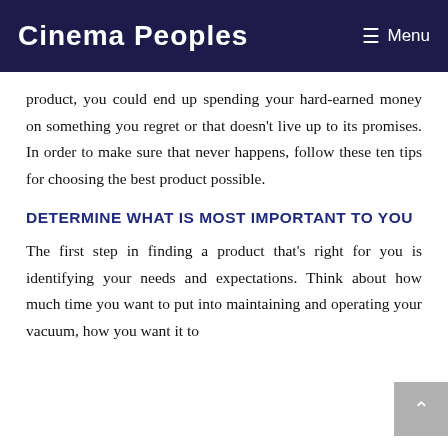Cinema Peoples | Menu
product, you could end up spending your hard-earned money on something you regret or that doesn't live up to its promises. In order to make sure that never happens, follow these ten tips for choosing the best product possible.
DETERMINE WHAT IS MOST IMPORTANT TO YOU
The first step in finding a product that's right for you is identifying your needs and expectations. Think about how much time you want to put into maintaining and operating your vacuum, how you want it to